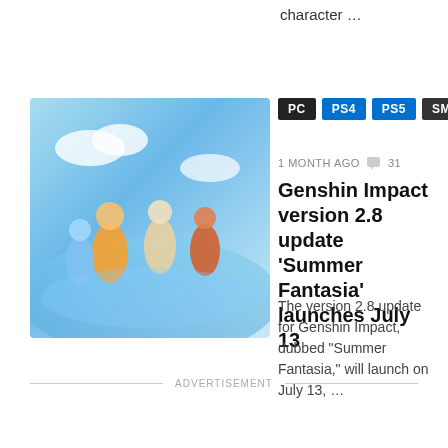character …
[Figure (illustration): Genshin Impact game art showing colorful anime characters in a sky setting]
PC  PS4  PS5  SMARTPHONE
1 MONTH AGO  31
Genshin Impact version 2.8 update 'Summer Fantasia' launches July 13
The version 2.8 update for Genshin Impact, dubbed "Summer Fantasia," will launch on July 13, …
ADVERTISEMENT